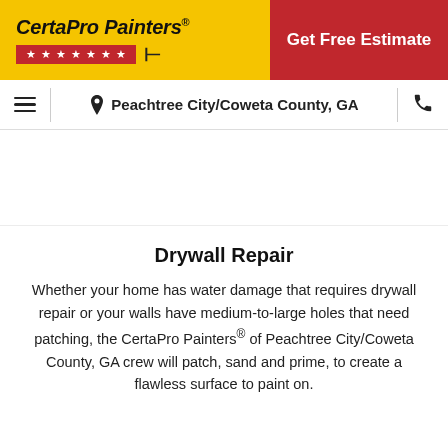[Figure (logo): CertaPro Painters logo on yellow background with red stars bar]
Get Free Estimate
Peachtree City/Coweta County, GA
[Figure (photo): White/blank image placeholder area]
Drywall Repair
Whether your home has water damage that requires drywall repair or your walls have medium-to-large holes that need patching, the CertaPro Painters® of Peachtree City/Coweta County, GA crew will patch, sand and prime, to create a flawless surface to paint on.